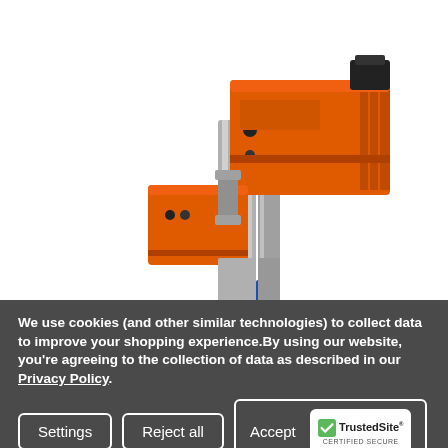[Figure (photo): Industrial actuator product photo showing orange and silver BELIMO-style valve actuator assembly with two orange rectangular motor units mounted on a silver aluminum rail/column, with blue wiring visible at bottom]
We use cookies (and other similar technologies) to collect data to improve your shopping experience.By using our website, you're agreeing to the collection of data as described in our Privacy Policy.
Settings
Reject all
Accept All Cookies